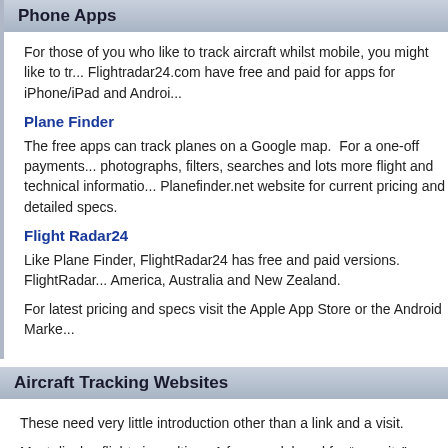Phone Apps
For those of you who like to track aircraft whilst mobile, you might like to tr... Flightradar24.com have free and paid for apps for iPhone/iPad and Androi...
Plane Finder
The free apps can track planes on a Google map.  For a one-off payments... photographs, filters, searches and lots more flight and technical informatio... Planefinder.net website for current pricing and detailed specs.
Flight Radar24
Like Plane Finder, FlightRadar24 has free and paid versions.  FlightRadar... America, Australia and New Zealand.
For latest pricing and specs visit the Apple App Store or the Android Marke...
Aircraft Tracking Websites
These need very little introduction other than a link and a visit.
Most display flights in realtime. A few are delayed for "security" reasons.